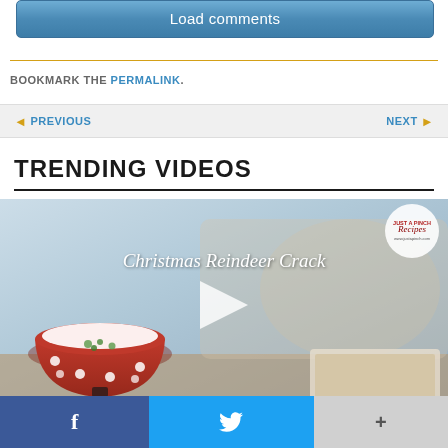Load comments
BOOKMARK THE PERMALINK.
◄ PREVIOUS    NEXT ►
TRENDING VIDEOS
[Figure (screenshot): Video thumbnail for 'Christmas Reindeer Crack' showing a red polka-dot bowl and hands working with ingredients, with a play button overlay and 'Just A Pinch Recipes' logo]
f  (Twitter bird icon)  +